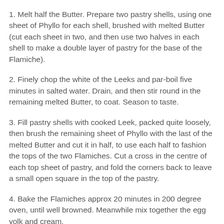1. Melt half the Butter. Prepare two pastry shells, using one sheet of Phyllo for each shell, brushed with melted Butter (cut each sheet in two, and then use two halves in each shell to make a double layer of pastry for the base of the Flamiche).
2. Finely chop the white of the Leeks and par-boil five minutes in salted water. Drain, and then stir round in the remaining melted Butter, to coat. Season to taste.
3. Fill pastry shells with cooked Leek, packed quite loosely, then brush the remaining sheet of Phyllo with the last of the melted Butter and cut it in half, to use each half to fashion the tops of the two Flamiches. Cut a cross in the centre of each top sheet of pastry, and fold the corners back to leave a small open square in the top of the pastry.
4. Bake the Flamiches approx 20 minutes in 200 degree oven, until well browned. Meanwhile mix together the egg yolk and cream.